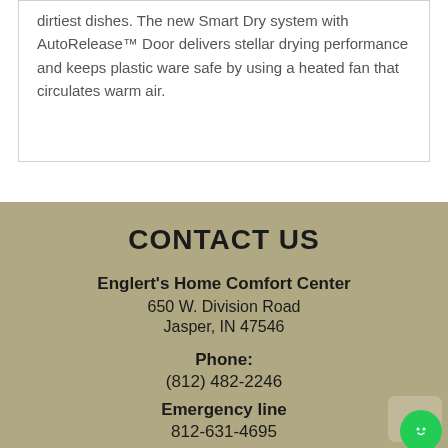dirtiest dishes. The new Smart Dry system with AutoRelease™ Door delivers stellar drying performance and keeps plastic ware safe by using a heated fan that circulates warm air.
CONTACT US
Englert's Home Comfort Center
650 W. Division Road
Jasper, IN 47546
Phone:
(812) 482-2246
Emergency line
812-631-4695